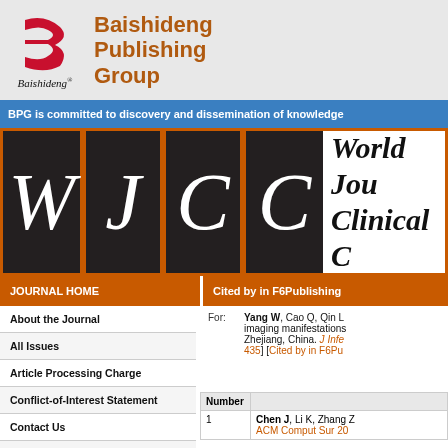[Figure (logo): Baishideng Publishing Group logo — red stylized 'B' icon with Baishideng script below, and 'Baishideng Publishing Group' text in orange-brown on right]
BPG is committed to discovery and dissemination of knowledge
[Figure (logo): WJCC journal banner with four dark letter tiles W J C C in italic white on black squares, bordered in orange, with 'World Journal of Clinical Cases' italic bold text to the right]
JOURNAL HOME
Cited by in F6Publishing
About the Journal
All Issues
Article Processing Charge
Conflict-of-Interest Statement
Contact Us
Copyright License Agreement
For: Yang W, Cao Q, Qin L imaging manifestations Zhejiang, China. J Infe 435] [Cited by in F6Pu
| Number |  |
| --- | --- |
| 1 | Chen J, Li K, Zhang Z ACM Comput Sur 20 |